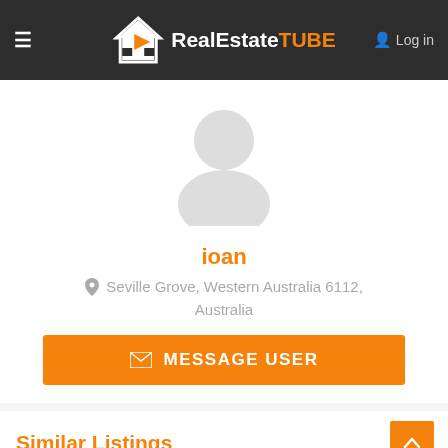RealEstateTUBE — Log in
[Figure (photo): Generic user avatar silhouette placeholder image in light gray]
ioan
Seville Grove, Western Australia 6112, Australia
MESSAGE USER
Similar Listings
[Figure (photo): Partial listing thumbnail photo at bottom of page]